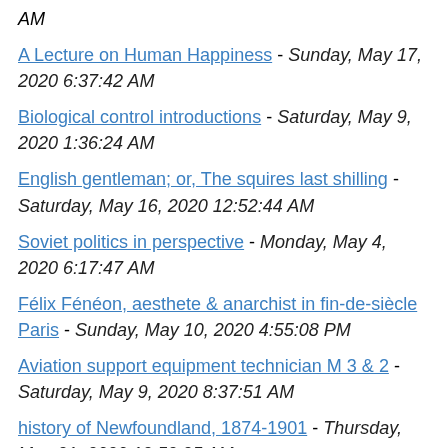AM
A Lecture on Human Happiness - Sunday, May 17, 2020 6:37:42 AM
Biological control introductions - Saturday, May 9, 2020 1:36:24 AM
English gentleman; or, The squires last shilling - Saturday, May 16, 2020 12:52:44 AM
Soviet politics in perspective - Monday, May 4, 2020 6:17:47 AM
Félix Fénéon, aesthete & anarchist in fin-de-siècle Paris - Sunday, May 10, 2020 4:55:08 PM
Aviation support equipment technician M 3 & 2 - Saturday, May 9, 2020 8:37:51 AM
history of Newfoundland, 1874-1901 - Thursday, May 21, 2020 12:52:25 AM
natural history of English insects - Tuesday, May 12, ...